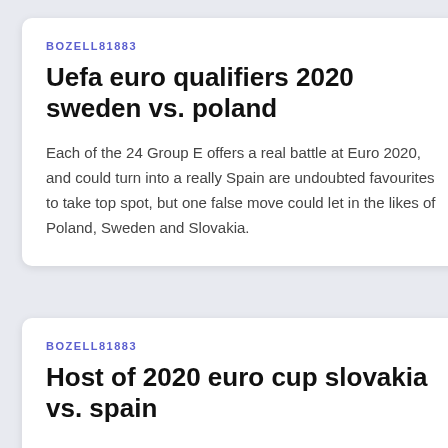BOZELL81883
Uefa euro qualifiers 2020 sweden vs. poland
Each of the 24 Group E offers a real battle at Euro 2020, and could turn into a really Spain are undoubted favourites to take top spot, but one false move could let in the likes of Poland, Sweden and Slovakia.
BOZELL81883
Host of 2020 euro cup slovakia vs. spain